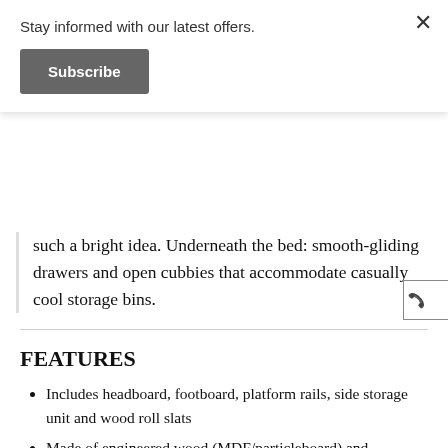Stay informed with our latest offers.
Subscribe
such a bright idea. Underneath the bed: smooth-gliding drawers and open cubbies that accommodate casually cool storage bins.
FEATURES
Includes headboard, footboard, platform rails, side storage unit and wood roll slats
Made of engineered wood (MDF/particleboard) and decorative laminate
Brown rustic finish with burnt orange and teal accents in a replicated wood g… authentic touch
4 drawers and 4 open cubbies that each
Got A QUESTION?